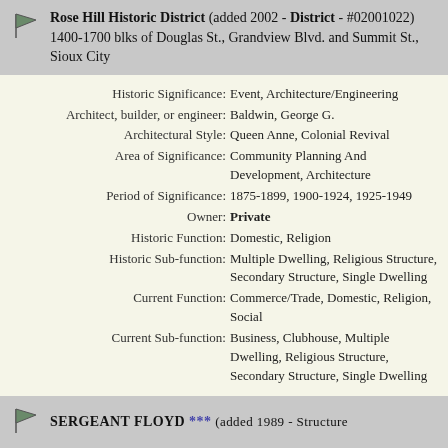Rose Hill Historic District (added 2002 - District - #02001022)
1400-1700 blks of Douglas St., Grandview Blvd. and Summit St., Sioux City
| Field | Value |
| --- | --- |
| Historic Significance: | Event, Architecture/Engineering |
| Architect, builder, or engineer: | Baldwin, George G. |
| Architectural Style: | Queen Anne, Colonial Revival |
| Area of Significance: | Community Planning And Development, Architecture |
| Period of Significance: | 1875-1899, 1900-1924, 1925-1949 |
| Owner: | Private |
| Historic Function: | Domestic, Religion |
| Historic Sub-function: | Multiple Dwelling, Religious Structure, Secondary Structure, Single Dwelling |
| Current Function: | Commerce/Trade, Domestic, Religion, Social |
| Current Sub-function: | Business, Clubhouse, Multiple Dwelling, Religious Structure, Secondary Structure, Single Dwelling |
SERGEANT FLOYD *** (added 1989 - Structure